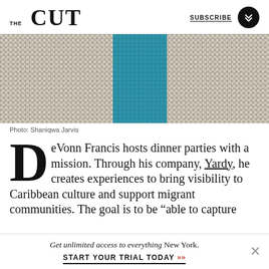THE CUT | SUBSCRIBE
[Figure (photo): Partial view of a person wearing a houndstooth patterned blazer over a teal/turquoise top, photographed from torso level]
Photo: Shaniqwa Jarvis
DeVonn Francis hosts dinner parties with a mission. Through his company, Yardy, he creates experiences to bring visibility to Caribbean culture and support migrant communities. The goal is to be “able to capture
Get unlimited access to everything New York. START YOUR TRIAL TODAY »